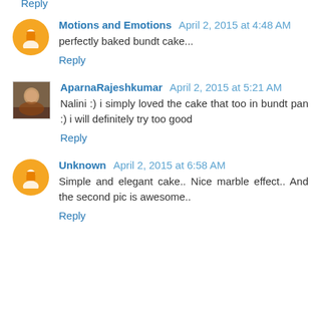Reply
Motions and Emotions  April 2, 2015 at 4:48 AM
perfectly baked bundt cake...
Reply
AparnaRajeshkumar  April 2, 2015 at 5:21 AM
Nalini :) i simply loved the cake that too in bundt pan :) i will definitely try too good
Reply
Unknown  April 2, 2015 at 6:58 AM
Simple and elegant cake.. Nice marble effect.. And the second pic is awesome..
Reply